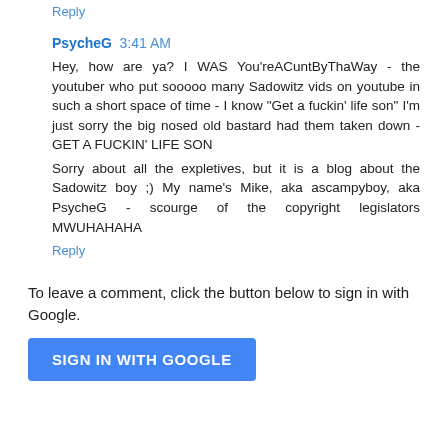Reply
PsycheG  3:41 AM
Hey, how are ya? I WAS You'reACuntByThaWay - the youtuber who put sooooo many Sadowitz vids on youtube in such a short space of time - I know "Get a fuckin' life son" I'm just sorry the big nosed old bastard had them taken down - GET A FUCKIN' LIFE SON
Sorry about all the expletives, but it is a blog about the Sadowitz boy ;) My name's Mike, aka ascampyboy, aka PsycheG - scourge of the copyright legislators MWUHAHAHA
Reply
To leave a comment, click the button below to sign in with Google.
SIGN IN WITH GOOGLE